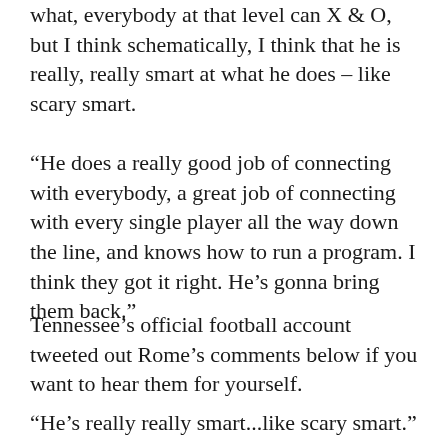what, everybody at that level can X & O, but I think schematically, I think that he is really, really smart at what he does – like scary smart.
“He does a really good job of connecting with everybody, a great job of connecting with every single player all the way down the line, and knows how to run a program. I think they got it right. He’s gonna bring them back.”
Tennessee’s official football account tweeted out Rome’s comments below if you want to hear them for yourself.
"He's really really smart...like scary smart." –